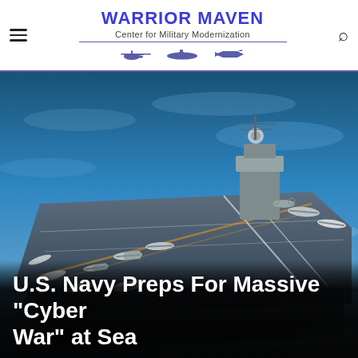WARRIOR MAVEN Center for Military Modernization
[Figure (photo): Aerial photograph of a U.S. Navy aircraft carrier at sea, viewed from above and slightly to the side, with numerous fighter jets and aircraft on the flight deck. The ocean is visible surrounding the carrier.]
U.S. Navy Preps For Massive "Cyber War" at Sea